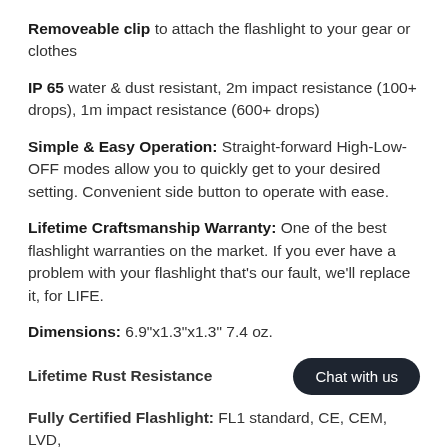Removeable clip to attach the flashlight to your gear or clothes
IP 65 water & dust resistant, 2m impact resistance (100+ drops), 1m impact resistance (600+ drops)
Simple & Easy Operation: Straight-forward High-Low-OFF modes allow you to quickly get to your desired setting. Convenient side button to operate with ease.
Lifetime Craftsmanship Warranty: One of the best flashlight warranties on the market. If you ever have a problem with your flashlight that's our fault, we'll replace it, for LIFE.
Dimensions: 6.9"x1.3"x1.3" 7.4 oz.
Lifetime Rust Resistance
Fully Certified Flashlight: FL1 standard, CE, CEM, LVD, WEEE, RoHS, UN38.2, RCW, REACH, EN, IEC 62133V